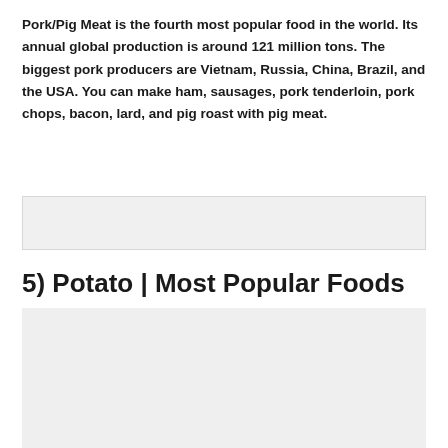Pork/Pig Meat is the fourth most popular food in the world. Its annual global production is around 121 million tons. The biggest pork producers are Vietnam, Russia, China, Brazil, and the USA. You can make ham, sausages, pork tenderloin, pork chops, bacon, lard, and pig roast with pig meat.
[Figure (photo): Placeholder image for pork/pig meat photo]
5) Potato | Most Popular Foods
[Figure (photo): Placeholder image for potato photo]